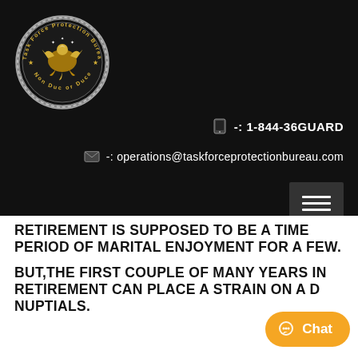[Figure (logo): Task Force Protection Bureau circular medallion seal with phoenix and stars, silver and gold colors, text 'Task Force Protection Bureau' and 'Non Duc or Duce']
-: 1-844-36GUARD
-: operations@taskforceprotectionbureau.com
RETIREMENT IS SUPPOSED TO BE A TIME PERIOD OF MARITAL ENJOYMENT FOR A FEW.
BUT,THE FIRST COUPLE OF MANY YEARS IN RETIREMENT CAN PLACE A STRAIN ON A D NUPTIALS.